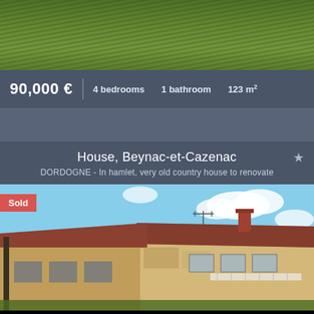[Figure (photo): Top portion of a green grassy hillside photo]
90,000 € | 4 bedrooms | 1 bathroom | 123 m²
House, Beynac-et-Cazenac
DORDOGNE - In hamlet, very old country house to renovate
[Figure (photo): Old stone country house with terracotta roof tiles in need of renovation, blue sky with clouds in background. A red 'Sold' badge is shown in the top-left corner.]
By clicking on "I agree", you authorize the use of cookies to ensure you get the best experience on this website.
Learn more    I agree